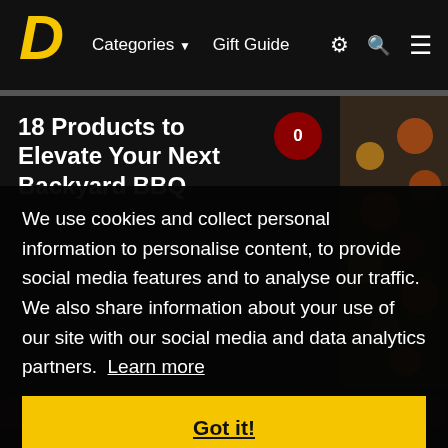D  Categories ▼  Gift Guide  ⚙ 🔍 ≡
18 Products to Elevate Your Next Backyard BBQ
We use cookies and collect personal information to personalise content, to provide social media features and to analyse our traffic. We also share information about your use of our site with our social media and data analytics partners. Learn more
Got it!
[Figure (photo): Food photo strip showing grilled vegetables and BBQ items on the right side]
[Figure (photo): Bottom food photo showing grilled meats/sausages]